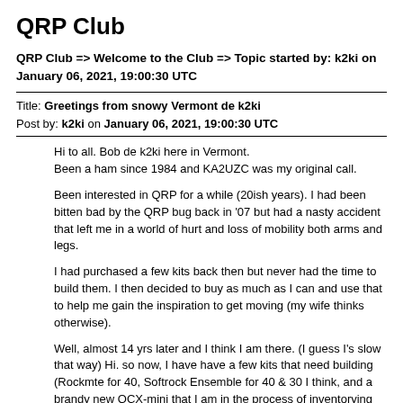QRP Club
QRP Club => Welcome to the Club => Topic started by: k2ki on January 06, 2021, 19:00:30 UTC
Title: Greetings from snowy Vermont de k2ki
Post by: k2ki on January 06, 2021, 19:00:30 UTC
Hi to all. Bob de k2ki here in Vermont.
Been a ham since 1984 and KA2UZC was my original call.

Been interested in QRP for a while (20ish years). I had been bitten bad by the QRP bug back in '07 but had a nasty accident that left me in a world of hurt and loss of mobility both arms and legs.

I had purchased a few kits back then but never had the time to build them. I then decided to buy as much as I can and use that to help me gain the inspiration to get moving (my wife thinks otherwise).

Well, almost 14 yrs later and I think I am there. (I guess I's slow that way) Hi. so now, I have have a few kits that need building (Rockmte for 40, Softrock Ensemble for 40 & 30 I think, and a brandy new QCX-mini that I am in the process of inventorying plus a few other tid-bits) and fix up a few basket cases that I bought to repair along the way.